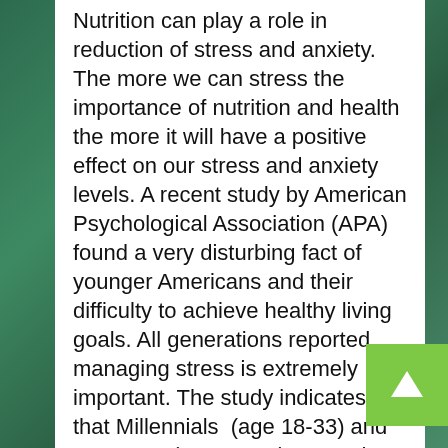Nutrition can play a role in reduction of stress and anxiety.  The more we can stress the importance of nutrition and health the more it will have a positive effect on our stress and anxiety levels.  A recent study by American Psychological Association (APA) found a very disturbing fact of younger Americans and their difficulty to achieve healthy living goals.  All generations reported managing stress is extremely important.  The study indicates that Millennials  (age 18-33) and Gen Xers (age 34-47) report the highest level of stress and Boomers (age 48-66) still had a higher level of stress that that is healthy. Although this study did not separate for gender – it found that younger Americans are eating more combined with drinking and smoking at a higher rate.  The only level of exercise was walking.  Certainly, this high rate of young adults eating